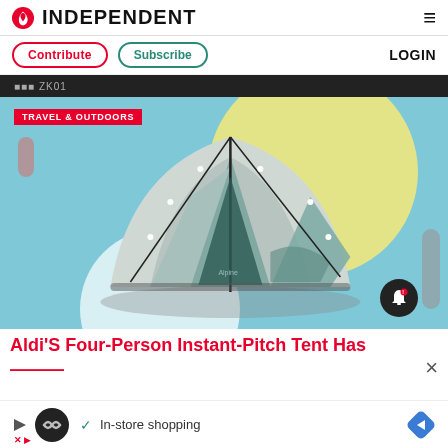INDEPENDENT
Contribute  Subscribe  LOGIN
[Figure (photo): A dome camping tent with gray and green panels on a light blue background with yellow and white circular shapes]
TRAVEL & OUTDOORS
Aldi'S Four-Person Instant-Pitch Tent Has
In-store shopping